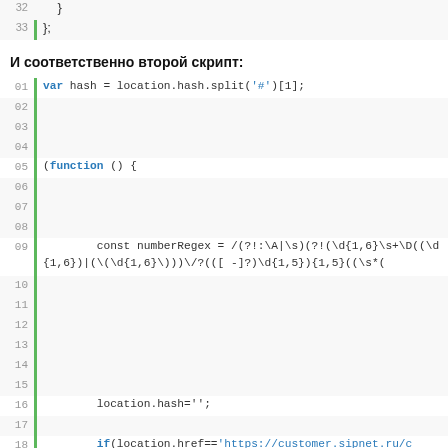[Figure (screenshot): Code block showing lines 32-33 with closing braces, then a Russian section header, then lines 01-21 of a second JavaScript snippet including var hash, function declaration, numberRegex constant, location.hash assignment, and if statement with sipnet URL.]
И соответственно второй скрипт:
[Figure (screenshot): Code lines 01-21 of second script]